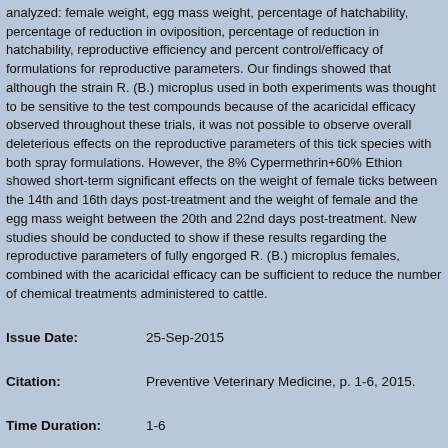analyzed: female weight, egg mass weight, percentage of hatchability, percentage of reduction in oviposition, percentage of reduction in hatchability, reproductive efficiency and percent control/efficacy of formulations for reproductive parameters. Our findings showed that although the strain R. (B.) microplus used in both experiments was thought to be sensitive to the test compounds because of the acaricidal efficacy observed throughout these trials, it was not possible to observe overall deleterious effects on the reproductive parameters of this tick species with both spray formulations. However, the 8% Cypermethrin+60% Ethion showed short-term significant effects on the weight of female ticks between the 14th and 16th days post-treatment and the weight of female and the egg mass weight between the 20th and 22nd days post-treatment. New studies should be conducted to show if these results regarding the reproductive parameters of fully engorged R. (B.) microplus females, combined with the acaricidal efficacy can be sufficient to reduce the number of chemical treatments administered to cattle.
Issue Date:	25-Sep-2015
Citation:	Preventive Veterinary Medicine, p. 1-6, 2015.
Time Duration:	1-6